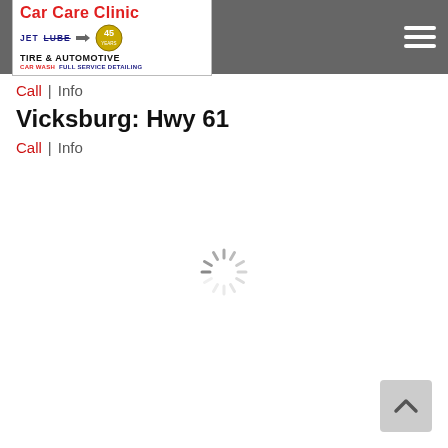[Figure (logo): Car Care Clinic logo with Jet Lube (strikethrough), Tire & Automotive, Car Wash Full Service Detailing, 45 years badge]
Call | Info
Vicksburg: Hwy 61
Call | Info
[Figure (other): Loading spinner (animated dashed circle)]
[Figure (other): Back to top button with upward chevron arrow]